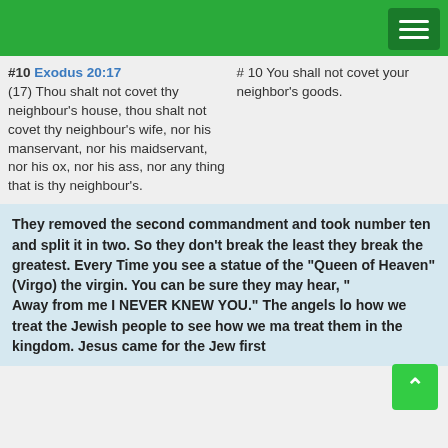Navigation header bar with hamburger menu
#10 Exodus 20:17
(17) Thou shalt not covet thy neighbour's house, thou shalt not covet thy neighbour's wife, nor his manservant, nor his maidservant, nor his ox, nor his ass, nor any thing that is thy neighbour's.
# 10 You shall not covet your neighbor's goods.
They removed the second commandment and took number ten and split it in two. So they don't break the least they break the greatest. Every Time you see a statue of the "Queen of Heaven" (Virgo) the virgin. You can be sure they may hear, "
Away from me I NEVER KNEW YOU." The angels lo how we treat the Jewish people to see how we ma treat them in the kingdom. Jesus came for the Jew first